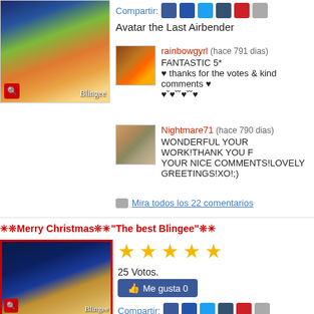[Figure (screenshot): Avatar the Last Airbender Blingee image thumbnail]
Compartir:
Avatar the Last Airbender
rainbowgyrl (hace 791 dias) FANTASTIC 5* ♥ thanks for the votes & kind comments ♥ ♥˘♥˘˘♥˘˘♥
Nightmare71 (hace 790 dias) WONDERFUL YOUR WORK!THANK YOU FOR YOUR NICE COMMENTS!LOVELY GREETINGS!XO!;)
Mira todos los 22 comentarios
✳❊Merry Christmas❊✳"The best Blingee"❊✳
[Figure (screenshot): Christmas nativity scene Blingee image]
25 Votos.
Me gusta 0
Compartir:
✳❊Merry Christmas❊✳"The best Blingee"❊✳